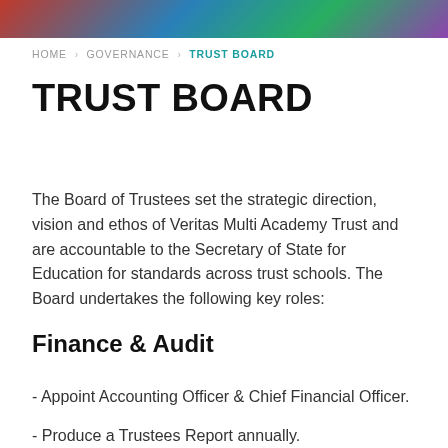[Figure (illustration): Decorative header image with colorful abstract/logo design in red, blue, green, and purple tones]
HOME › GOVERNANCE › TRUST BOARD
TRUST BOARD
The Board of Trustees set the strategic direction, vision and ethos of Veritas Multi Academy Trust and are accountable to the Secretary of State for Education for standards across trust schools. The Board undertakes the following key roles:
Finance & Audit
- Appoint Accounting Officer & Chief Financial Officer.
- Produce a Trustees Report annually.